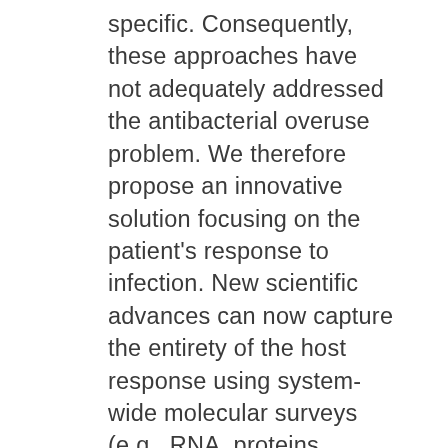specific. Consequently, these approaches have not adequately addressed the antibacterial overuse problem. We therefore propose an innovative solution focusing on the patient's response to infection. New scientific advances can now capture the entirety of the host response using system-wide molecular surveys (e.g., RNA, proteins, metabolites). Predigen scientists have developed analytical methods to define the stereotyped responses found within these highly complex and dense data. Applying these techniques to infection, they have shown the pattern of immune system response can distinguish bacterial, viral, and non-infectious etiologies. That response is most robustly detected in